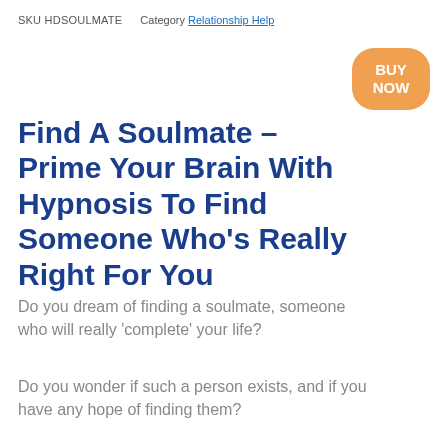SKU HDSOULMATE    Category Relationship Help
[Figure (other): Orange rounded rectangle button with white bold text reading BUY NOW]
Find A Soulmate – Prime Your Brain With Hypnosis To Find Someone Who's Really Right For You
Do you dream of finding a soulmate, someone who will really 'complete' your life?
Do you wonder if such a person exists, and if you have any hope of finding them?